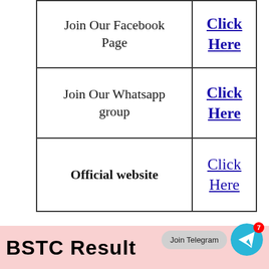| Join Our Facebook Page | Click Here |
| Join Our Whatsapp group | Click Here |
| Official website | Click Here |
[Figure (infographic): Pink banner at bottom with bold black text 'BSTC Result', a grey rounded pill button 'Join Telegram', and a cyan Telegram icon button with red badge showing '7']